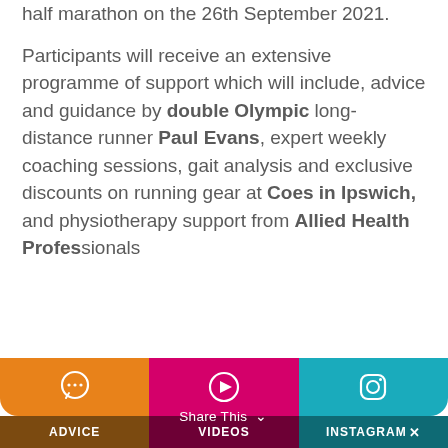half marathon on the 26th September 2021.

Participants will receive an extensive programme of support which will include, advice and guidance by double Olympic long-distance runner Paul Evans, expert weekly coaching sessions, gait analysis and exclusive discounts on running gear at Coes in Ipswich, and physiotherapy support from Allied Health Professionals
[Figure (other): Bottom navigation bar with three sections: orange ADVICE button with speech bubble icon, pink/magenta VIDEOS button with play icon, and teal INSTAGRAM button with Instagram icon. A 'Share This' overlay with chevron appears across the bottom.]